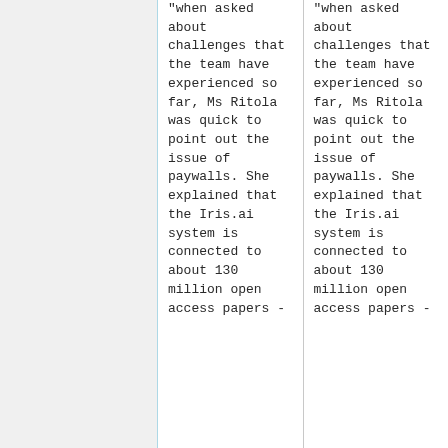"when asked about challenges that the team have experienced so far, Ms Ritola was quick to point out the issue of paywalls. She explained that the Iris.ai system is connected to about 130 million open access papers -
"when asked about challenges that the team have experienced so far, Ms Ritola was quick to point out the issue of paywalls. She explained that the Iris.ai system is connected to about 130 million open access papers -